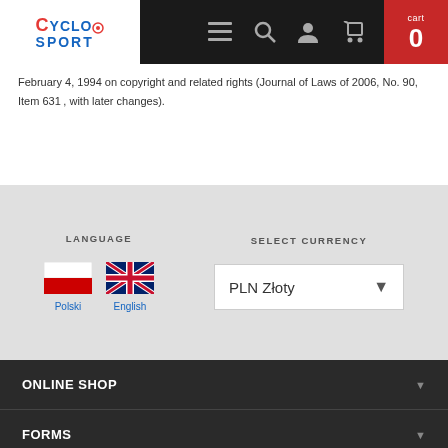CycloSport — navigation header with cart (0)
February 4, 1994 on copyright and related rights (Journal of Laws of 2006, No. 90, Item 631 , with later changes).
LANGUAGE | SELECT CURRENCY — Polski, English | PLN Złoty
ONLINE SHOP
FORMS
INFORMATION